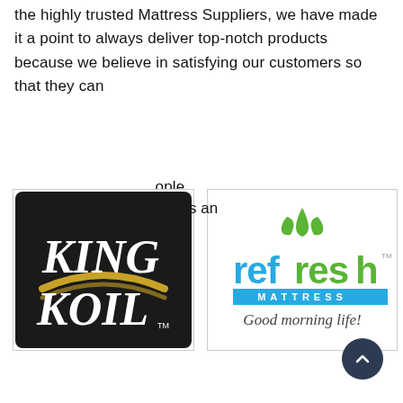the highly trusted Mattress Suppliers, we have made it a point to always deliver top-notch products because we believe in satisfying our customers so that they can tell the next person...
[Figure (logo): King Koil logo — black background with gold swoosh, white serif text reading KING KOIL with TM mark]
[Figure (logo): Refresh Mattress logo — green leaf graphic above blue and green 'refresh' text, blue 'MATTRESS' bar, italic tagline 'Good morning life!' with TM mark]